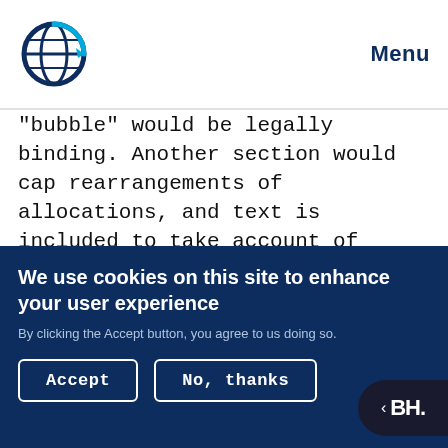Menu
"bubble" would be legally binding. Another section would cap rearrangements of allocations, and text is included to take account of changes in or enlargement of regional economic integration organizations.
IRAN reported on negotiations on minimizing the adverse effects of climate change through policies and measures. He proposed alternative text based
We use cookies on this site to enhance your user experience
By clicking the Accept button, you agree to us doing so.